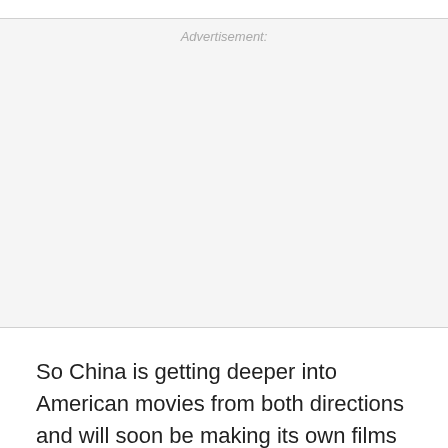[Figure (other): Advertisement placeholder section with light gray background and 'Advertisement:' label at top center]
So China is getting deeper into American movies from both directions and will soon be making its own films